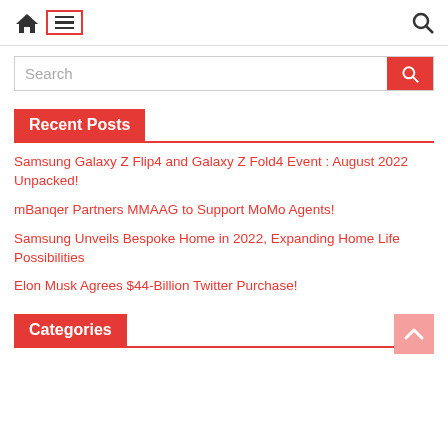Navigation bar with home icon, menu (hamburger) icon in red border box, and search icon
Search
Recent Posts
Samsung Galaxy Z Flip4 and Galaxy Z Fold4 Event : August 2022 Unpacked!
mBanqer Partners MMAAG to Support MoMo Agents!
Samsung Unveils Bespoke Home in 2022, Expanding Home Life Possibilities
Elon Musk Agrees $44-Billion Twitter Purchase!
Categories